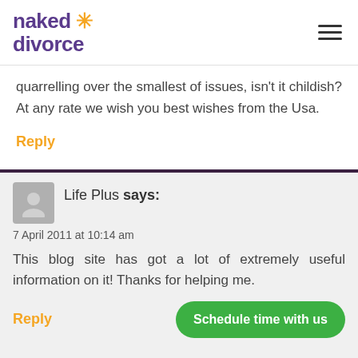naked divorce
quarrelling over the smallest of issues, isn't it childish? At any rate we wish you best wishes from the Usa.
Reply
Life Plus says:
7 April 2011 at 10:14 am
This blog site has got a lot of extremely useful information on it! Thanks for helping me.
Reply
Schedule time with us